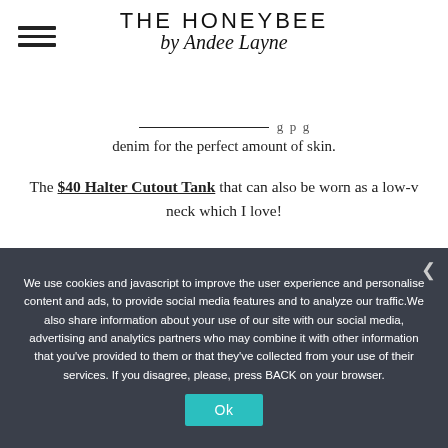THE HONEYBEE by Andee Layne
denim for the perfect amount of skin.
The $40 Halter Cutout Tank that can also be worn as a low-v neck which I love!
Just added this $88 Halter Top to my cart!
We use cookies and javascript to improve the user experience and personalise content and ads, to provide social media features and to analyze our traffic.We also share information about your use of our site with our social media, advertising and analytics partners who may combine it with other information that you've provided to them or that they've collected from your use of their services. If you disagree, please, press BACK on your browser.